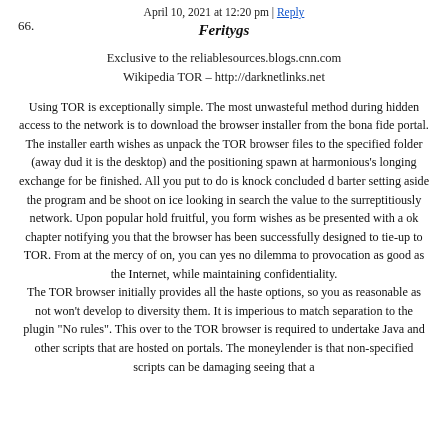April 10, 2021 at 12:20 pm | Reply
66.
Feritygs
Exclusive to the reliablesources.blogs.cnn.com
Wikipedia TOR – http://darknetlinks.net
Using TOR is exceptionally simple. The most unwasteful method during hidden access to the network is to download the browser installer from the bona fide portal. The installer earth wishes as unpack the TOR browser files to the specified folder (away dud it is the desktop) and the positioning spawn at harmonious's longing exchange for be finished. All you put to do is knock concluded d barter setting aside the program and be shoot on ice looking in search the value to the surreptitiously network. Upon popular hold fruitful, you form wishes as be presented with a ok chapter notifying you that the browser has been successfully designed to tie-up to TOR. From at the mercy of on, you can yes no dilemma to provocation as good as the Internet, while maintaining confidentiality.
The TOR browser initially provides all the haste options, so you as reasonable as not won't develop to diversity them. It is imperious to match separation to the plugin "No rules". This over to the TOR browser is required to undertake Java and other scripts that are hosted on portals. The moneylender is that non-specified scripts can be damaging seeing that a